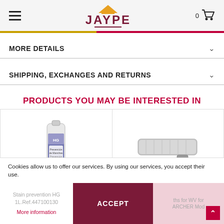JAYPE - navigation header with hamburger menu, logo and cart
MORE DETAILS
SHIPPING, EXCHANGES AND RETURNS
PRODUCTS YOU MAY BE INTERESTED IN
[Figure (photo): HG Stain prevention product bottle (1L)]
[Figure (photo): Replacement microfiber mop pads for WV for KARCHER Model]
Cookies allow us to offer our services. By using our services, you accept their use.
Stain prevention HG 1L.Ref.447100130
More information
ACCEPT
ths for WV for ARCHER Mod